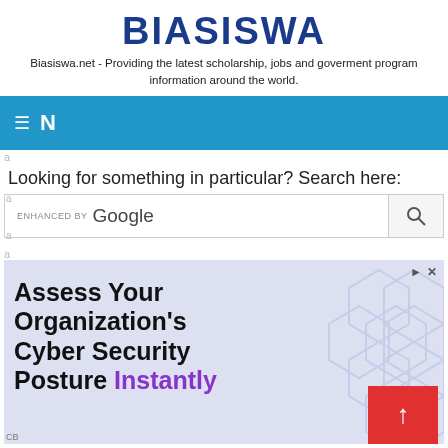BIASISWA
Biasiswa.net - Providing the latest scholarship, jobs and goverment program information around the world.
[Figure (screenshot): Blue navigation bar with hamburger menu icon and N letter]
Looking for something in particular? Search here:
[Figure (screenshot): Google enhanced search box with search button]
[Figure (screenshot): Advertisement banner: Assess Your Organization's Cyber Security Posture Instantly with hexagon background and red arrow button]